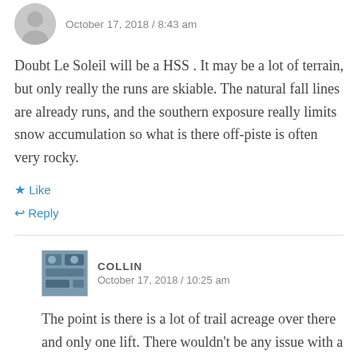October 17, 2018 / 8:43 am
Doubt Le Soleil will be a HSS . It may be a lot of terrain, but only really the runs are skiable. The natural fall lines are already runs, and the southern exposure really limits snow accumulation so what is there off-piste is often very rocky.
Like
Reply
COLLIN
October 17, 2018 / 10:25 am
The point is there is a lot of trail acreage over there and only one lift. There wouldn't be any issue with a capacity of 3000/hr over